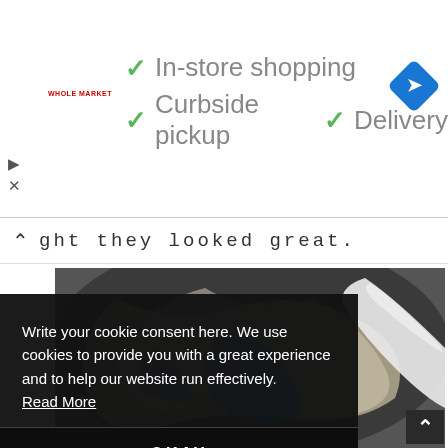[Figure (screenshot): Whole Foods Market ad banner showing In-store shopping, Curbside pickup, and Delivery options with checkmarks and a blue navigation diamond icon]
ght they looked great.
[Figure (photo): Overhead photo of a mixing bowl with blue and white swirled batter or frosting being mixed with a white spatula or spoon]
Write your cookie consent here. We use cookies to provide you with a great experience and to help our website run effectively. Read More
OKAY